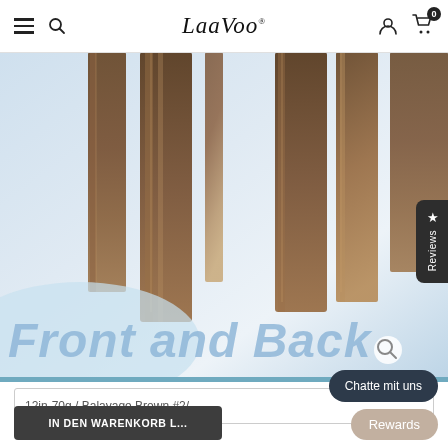LaaVoo
[Figure (photo): Product photo showing hair extension strands (brown/balayage color) displayed front and back on a light blue gradient background. Large italic text reads 'Front and Back' overlaid in light blue. A blue bar runs along the bottom of the image.]
12in-70g / Balayage Brown #2/
Chatte mit uns
IN DEN WARENKORB L...
Rewards